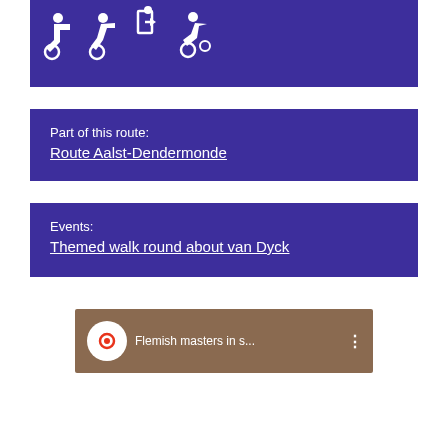[Figure (illustration): Four white accessibility/wheelchair icons on a dark blue background]
Part of this route:
Route Aalst-Dendermonde
Events:
Themed walk round about van Dyck
[Figure (screenshot): Video thumbnail showing 'Flemish masters in s...' with a play button circle icon and three-dot menu]